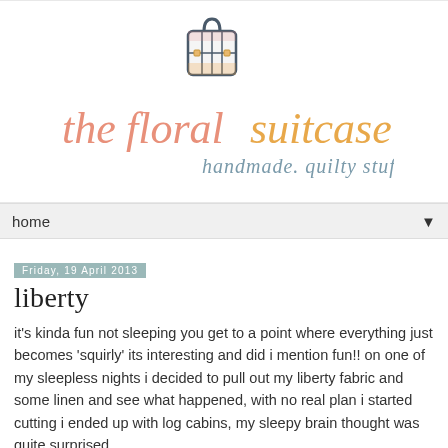[Figure (logo): The Floral Suitcase blog logo with a watercolor suitcase illustration above the text 'thefloralsuitcase' in stylized font with 'handmade. quilty stuff' subtitle]
home
Friday, 19 April 2013
liberty
it's kinda fun not sleeping you get to a point where everything just becomes 'squirly' its interesting and did i mention fun!! on one of my sleepless nights i decided to pull out my liberty fabric and some linen and see what happened, with no real plan i started cutting i ended up with log cabins, my sleepy brain thought was quite surprised